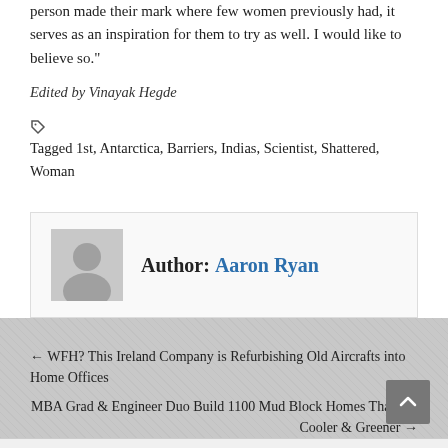person made their mark where few women previously had, it serves as an inspiration for them to try as well. I would like to believe so."
Edited by Vinayak Hegde
Tagged 1st, Antarctica, Barriers, Indias, Scientist, Shattered, Woman
Author: Aaron Ryan
← WFH? This Ireland Company is Refurbishing Old Aircrafts into Home Offices
MBA Grad & Engineer Duo Build 1100 Mud Block Homes That Are Cooler & Greener →
RECENT POSTS